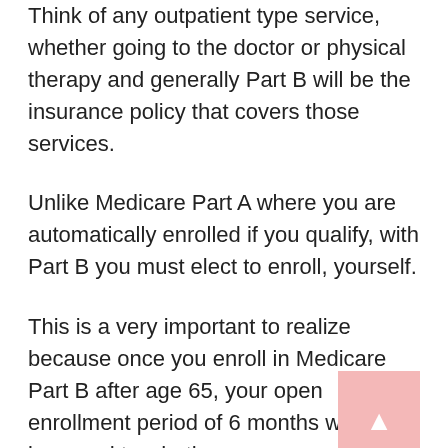Think of any outpatient type service, whether going to the doctor or physical therapy and generally Part B will be the insurance policy that covers those services.
Unlike Medicare Part A where you are automatically enrolled if you qualify, with Part B you must elect to enroll, yourself.
This is a very important to realize because once you enroll in Medicare Part B after age 65, your open enrollment period of 6 months will start in regard to whether you are